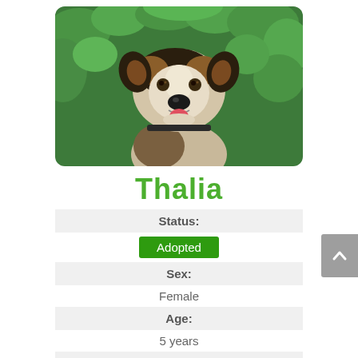[Figure (photo): A dog named Thalia — tricolor (black, brown, white) mixed breed dog facing the camera with mouth open and tongue out, sitting in front of green leafy foliage background.]
Thalia
| Status: |  |
| Adopted |  |
| Sex: |  |
| Female |  |
| Age: |  |
| 5 years |  |
| Size: |  |